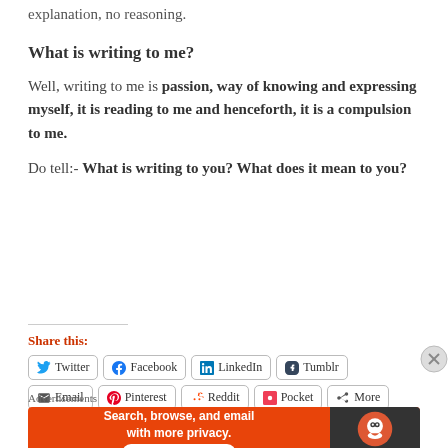explanation, no reasoning.
What is writing to me?
Well, writing to me is passion, way of knowing and expressing myself, it is reading to me and henceforth, it is a compulsion to me.
Do tell:- What is writing to you? What does it mean to you?
Share this:
[Figure (screenshot): Social share buttons: Twitter, Facebook, LinkedIn, Tumblr, Email, Pinterest, Reddit, Pocket, More]
Advertisements
[Figure (infographic): DuckDuckGo advertisement banner: Search, browse, and email with more privacy. All in One Free App. DuckDuckGo logo on dark background.]